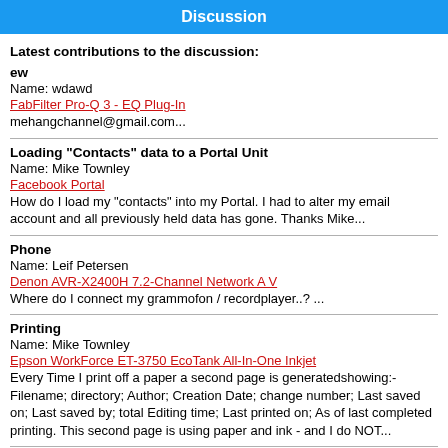Discussion
Latest contributions to the discussion:
ew
Name: wdawd
FabFilter Pro-Q 3 - EQ Plug-In
mehangchannel@gmail.com...
Loading "Contacts" data to a Portal Unit
Name: Mike Townley
Facebook Portal
How do I load my "contacts" into my Portal. I had to alter my email account and all previously held data has gone. Thanks Mike...
Phone
Name: Leif Petersen
Denon AVR-X2400H 7.2-Channel Network A V
Where do I connect my grammofon / recordplayer..? ...
Printing
Name: Mike Townley
Epson WorkForce ET-3750 EcoTank All-In-One Inkjet
Every Time I print off a paper a second page is generatedshowing:- Filename; directory; Author; Creation Date; change number; Last saved on; Last saved by; total Editing time; Last printed on; As of last completed printing. This second page is using paper and ink - and I do NOT...